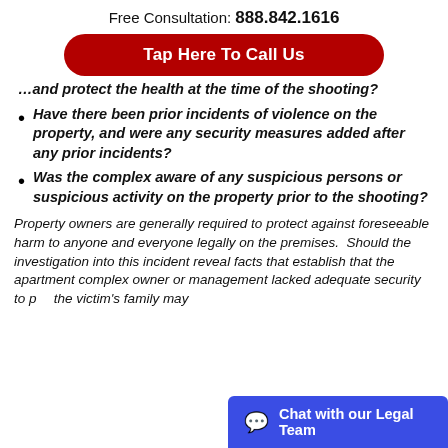Free Consultation: 888.842.1616
Tap Here To Call Us
…and protect the health at the time of the shooting?
Have there been prior incidents of violence on the property, and were any security measures added after any prior incidents?
Was the complex aware of any suspicious persons or suspicious activity on the property prior to the shooting?
Property owners are generally required to protect against foreseeable harm to anyone and everyone legally on the premises.  Should the investigation into this incident reveal facts that establish that the apartment complex owner or management lacked adequate security to p… the victim's family may…